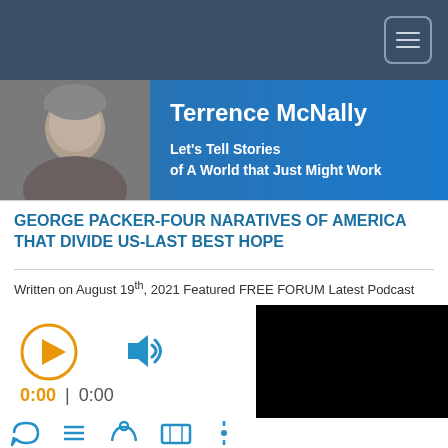Navigation bar with hamburger menu
[Figure (photo): Header banner with photo of Terrence McNally and site title]
GEORGE PACKER-FOUR NARATIVES OF AMERICA THAT DIVIDE US-LAST BEST HOPE
Written on August 19th, 2021 Featured FREE FORUM Latest Podcast
[Figure (screenshot): Audio player with play button, volume icon, and time display 0:00 | 0:00, alongside a black video thumbnail]